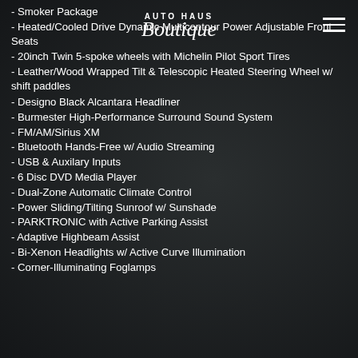AUTO HAUS Boutique
- Smoker Package
- Heated/Cooled Drive Dynamic Multicontour Power Adjustable Front Seats
- 20inch Twin 5-spoke wheels with Michelin Pilot Sport Tires
- Leather/Wood Wrapped Tilt & Telescopic Heated Steering Wheel w/ shift paddles
- Designo Black Alcantara Headliner
- Burmester High-Performance Surround Sound System
- FM/AM/Sirius XM
- Bluetooth Hands-Free w/ Audio Streaming
- USB & Auxilary Inputs
- 6 Disc DVD Media Player
- Dual-Zone Automatic Climate Control
- Power Sliding/Tilting Sunroof w/ Sunshade
- PARKTRONIC with Active Parking Assist
- Adaptive Highbeam Assist
- Bi-Xenon Headlights w/ Active Curve Illumination
- Corner-Illuminating Foglamps